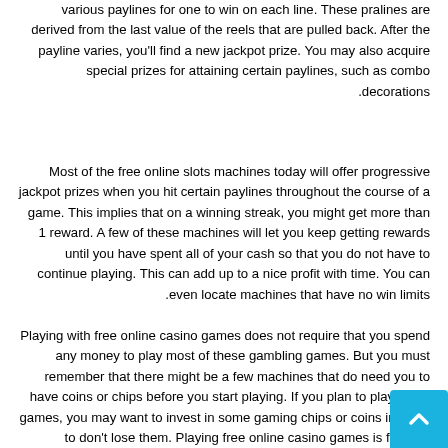various paylines for one to win on each line. These pralines are derived from the last value of the reels that are pulled back. After the payline varies, you'll find a new jackpot prize. You may also acquire special prizes for attaining certain paylines, such as combo decorations.
Most of the free online slots machines today will offer progressive jackpot prizes when you hit certain paylines throughout the course of a game. This implies that on a winning streak, you might get more than 1 reward. A few of these machines will let you keep getting rewards until you have spent all of your cash so that you do not have to continue playing. This can add up to a nice profit with time. You can even locate machines that have no win limits.
Playing with free online casino games does not require that you spend any money to play most of these gambling games. But you must remember that there might be a few machines that do need you to have coins or chips before you start playing. If you plan to play many games, you may want to invest in some gaming chips or coins in order to don't lose them. Playing free online casino games is fun and entertaining, but you should take your time when playing and play